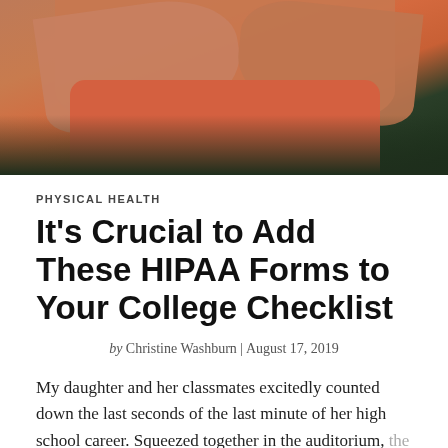[Figure (photo): Cropped photo of a person with arms crossed, wearing an orange/coral shirt, with a green background. Only the torso and crossed arms are visible.]
PHYSICAL HEALTH
It’s Crucial to Add These HIPAA Forms to Your College Checklist
by Christine Washburn | August 17, 2019
My daughter and her classmates excitedly counted down the last seconds of the last minute of her high school career. Squeezed together in the auditorium, the seniors slowly chanted "5-4-3-2-1" in unison. As the gym clock hit the end of the count down, a all of the